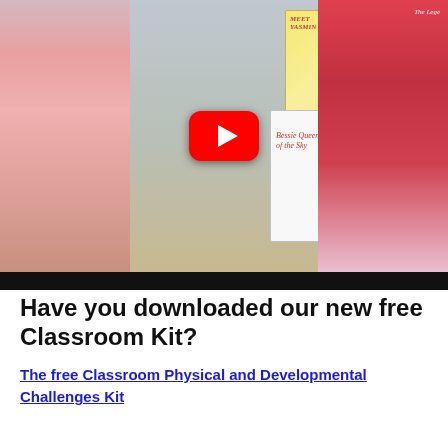[Figure (screenshot): YouTube video thumbnail showing children holding books including 'Meet Yasmin', 'Bessie Queen of the Sky', and 'The Legacy'. A red YouTube play button is overlaid in the center. A black bar appears at the bottom of the video frame.]
Have you downloaded our new free Classroom Kit?
The free Classroom Physical and Developmental Challenges Kit